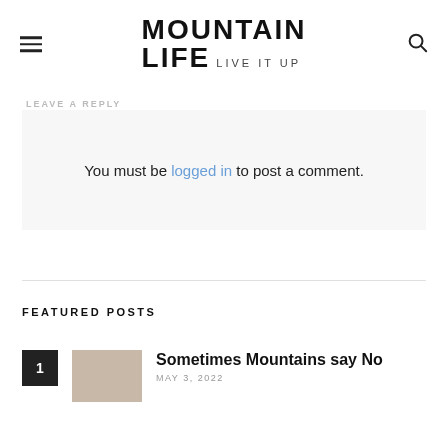MOUNTAIN LIFE LIVE IT UP
LEAVE A REPLY
You must be logged in to post a comment.
FEATURED POSTS
1 Sometimes Mountains say No MAY 3, 2022